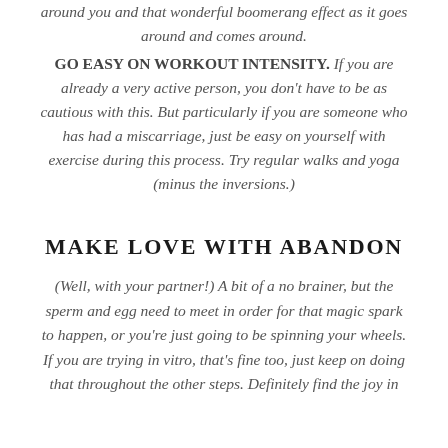around you and that wonderful boomerang effect as it goes around and comes around.
GO EASY ON WORKOUT INTENSITY. If you are already a very active person, you don't have to be as cautious with this. But particularly if you are someone who has had a miscarriage, just be easy on yourself with exercise during this process. Try regular walks and yoga (minus the inversions.)
MAKE LOVE WITH ABANDON
(Well, with your partner!) A bit of a no brainer, but the sperm and egg need to meet in order for that magic spark to happen, or you're just going to be spinning your wheels. If you are trying in vitro, that's fine too, just keep on doing that throughout the other steps. Definitely find the joy in